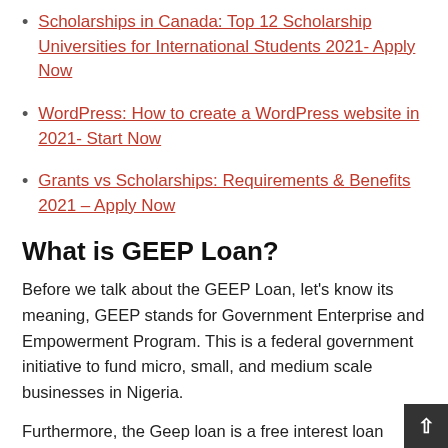Scholarships in Canada: Top 12 Scholarship Universities for International Students 2021- Apply Now
WordPress: How to create a WordPress website in 2021- Start Now
Grants vs Scholarships: Requirements & Benefits 2021 – Apply Now
What is GEEP Loan?
Before we talk about the GEEP Loan, let's know its meaning, GEEP stands for Government Enterprise and Empowerment Program. This is a federal government initiative to fund micro, small, and medium scale businesses in Nigeria.
Furthermore, the Geep loan is a free interest loan given to outgoing npower beneficiaries to start up small businesses in their various locations.